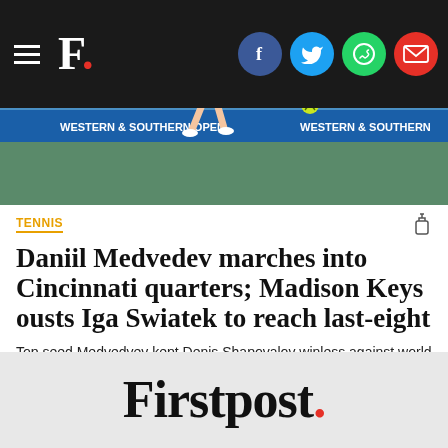F. [Firstpost logo with social icons: Facebook, Twitter, WhatsApp, Email]
[Figure (photo): Tennis player mid-action on a hard court, wearing blue shorts and dark top, reaching to hit a tennis ball. Blue advertising boards visible in background.]
TENNIS
Daniil Medvedev marches into Cincinnati quarters; Madison Keys ousts Iga Swiatek to reach last-eight
Top seed Medvedvev kept Denis Shapovalov winless against world number ones with a 7-5, 7-5 victory while Poland's Swiatek lost 6-3, 6-4 to 2019 Cincinnati champion Keys, who needed five match points to finish off the shock triumph.
Firstpost.